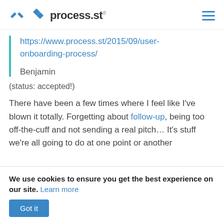process.st
https://www.process.st/2015/09/user-onboarding-process/

Benjamin
(status: accepted!)
There have been a few times where I feel like I've blown it totally. Forgetting about follow-up, being too off-the-cuff and not sending a real pitch... It's stuff we're all going to do at one point or another
We use cookies to ensure you get the best experience on our site. Learn more
Got it